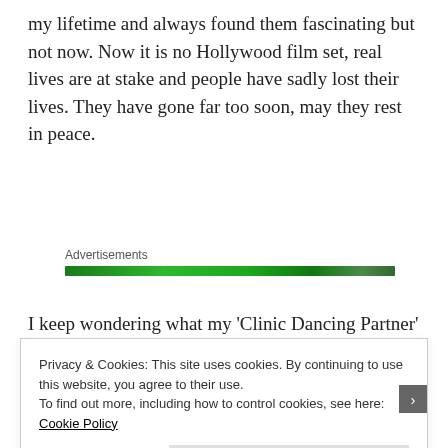my lifetime and always found them fascinating but not now. Now it is no Hollywood film set, real lives are at stake and people have sadly lost their lives. They have gone far too soon, may they rest in peace.
[Figure (other): Green advertisement banner bar]
I keep wondering what my ‘Clinic Dancing Partner’ would of made of this had he been alive. One thing is for certain, Corona Covid-19 would have been the
Privacy & Cookies: This site uses cookies. By continuing to use this website, you agree to their use.
To find out more, including how to control cookies, see here: Cookie Policy

Close and accept